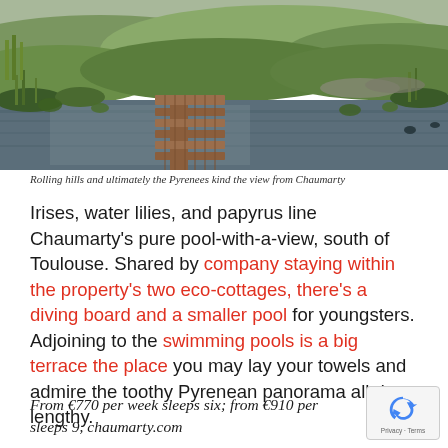[Figure (photo): Aerial/ground view of a natural swimming pond with a wooden dock/boardwalk extending into the water, surrounded by aquatic plants including water lilies and reeds, with rolling green hills and fields in the background under a summer sky]
Rolling hills and ultimately the Pyrenees kind the view from Chaumarty
Irises, water lilies, and papyrus line Chaumarty's pure pool-with-a-view, south of Toulouse. Shared by company staying within the property's two eco-cottages, there's a diving board and a smaller pool for youngsters. Adjoining to the swimming pools is a big terrace the place you may lay your towels and admire the toothy Pyrenean panorama all day lengthy.
From €770 per week sleeps six; from €910 per sleeps 9, chaumarty.com